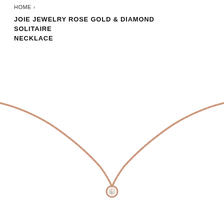HOME  ›
JOIE JEWELRY ROSE GOLD & DIAMOND SOLITAIRE NECKLACE
[Figure (photo): Rose gold chain necklace with a single diamond solitaire pendant in a bezel setting, photographed against a white background. The chain forms a gentle U-shape draping from upper left to upper right, with the diamond pendant centered at the bottom.]